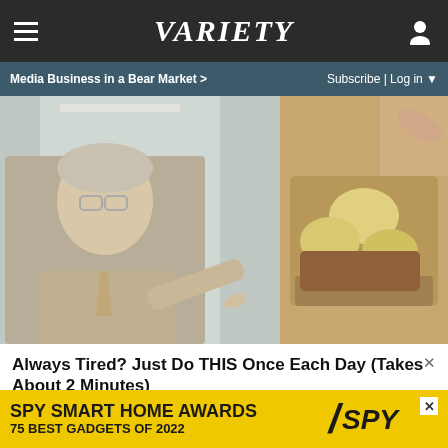VARIETY
Media Business in a Bear Market >   Subscribe | Log in ▼
[Figure (photo): Advertisement image showing a doctor in a suit pointing at a dental/food model on the left side, and a close-up of food items on the right side]
Always Tired? Just Do THIS Once Each Day (Takes About 2 Minutes)
[Figure (other): SPY Smart Home Awards banner ad: '75 BEST GADGETS OF 2022' on yellow background with SPY logo]